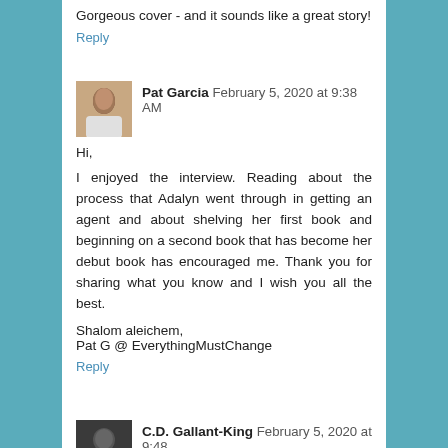Gorgeous cover - and it sounds like a great story!
Reply
Pat Garcia  February 5, 2020 at 9:38 AM
Hi,
I enjoyed the interview. Reading about the process that Adalyn went through in getting an agent and about shelving her first book and beginning on a second book that has become her debut book has encouraged me. Thank you for sharing what you know and I wish you all the best.

Shalom aleichem,
Pat G @ EverythingMustChange
Reply
C.D. Gallant-King  February 5, 2020 at 9:48